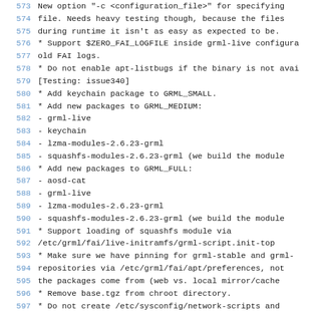573  New option "-c <configuration_file>" for specifying file. Needs heavy testing though, because the files during runtime it isn't as easy as expected to be.
574  (continuation)
575  (continuation)
576  * Support $ZERO_FAI_LOGFILE inside grml-live configura old FAI logs.
577  (continuation)
578  * Do not enable apt-listbugs if the binary is not avai [Testing: issue340]
579  (continuation)
580  * Add keychain package to GRML_SMALL.
581  * Add new packages to GRML_MEDIUM:
582    - grml-live
583    - keychain
584    - lzma-modules-2.6.23-grml
585    - squashfs-modules-2.6.23-grml (we build the module
586  * Add new packages to GRML_FULL:
587    - aosd-cat
588    - grml-live
589    - lzma-modules-2.6.23-grml
590    - squashfs-modules-2.6.23-grml (we build the module
591  * Support loading of squashfs module via /etc/grml/fai/live-initramfs/grml-script.init-top
592  (continuation)
593  * Make sure we have pinning for grml-stable and grml-  repositories via /etc/grml/fai/apt/preferences, not  the packages come from (web vs. local mirror/cache
594  (continuation)
595  (continuation)
596  * Remove base.tgz from chroot directory.
597  * Do not create /etc/sysconfig/network-scripts and /etc/sysconfig/provider any longer in cleanup script
598  (continuation)
599  * Fix typo in bootsplash f3 (thanks, jimmy).